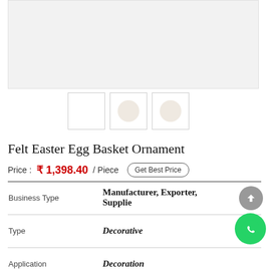[Figure (photo): Large product image area showing a felt Easter egg basket ornament on light grey background]
[Figure (photo): Three thumbnail images of the product: first blank/white, second and third showing small round felt Easter egg basket ornament]
Felt Easter Egg Basket Ornament
Price :  ₹ 1,398.40 / Piece  Get Best Price
| Property | Value |
| --- | --- |
| Business Type | Manufacturer, Exporter, Supplier |
| Type | Decorative |
| Application | Decoration |